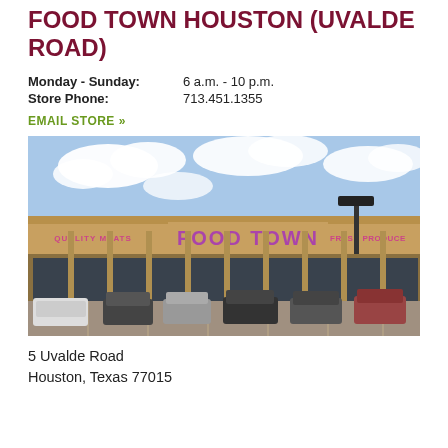FOOD TOWN HOUSTON (UVALDE ROAD)
Monday - Sunday: 6 a.m. - 10 p.m.
Store Phone: 713.451.1355
EMAIL STORE »
[Figure (photo): Exterior photo of Food Town grocery store on Uvalde Road in Houston, Texas. Large tan/beige building with 'FOOD TOWN' sign in purple letters, 'QUALITY MEATS' on the left and 'FRESH PRODUCE' on the right. Parking lot with cars in foreground, blue sky with clouds above.]
5 Uvalde Road
Houston, Texas 77015